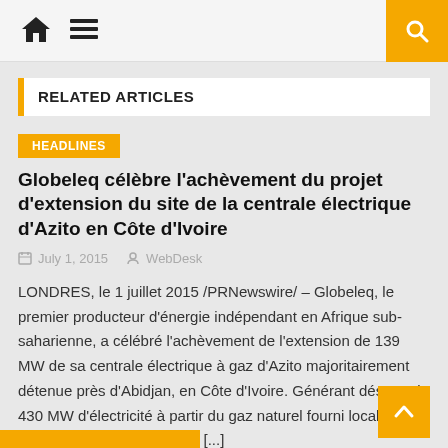Navigation bar with home icon, menu icon, and search button
RELATED ARTICLES
HEADLINES
Globeleq célèbre l'achèvement du projet d'extension du site de la centrale électrique d'Azito en Côte d'Ivoire
July 1, 2015   WebDesk
LONDRES, le 1 juillet 2015 /PRNewswire/ – Globeleq, le premier producteur d'énergie indépendant en Afrique sub-saharienne, a célébré l'achèvement de l'extension de 139 MW de sa centrale électrique à gaz d'Azito majoritairement détenue près d'Abidjan, en Côte d'Ivoire. Générant désormais 430 MW d'électricité à partir du gaz naturel fourni localement, Azito fournit plus d'un quart [...]